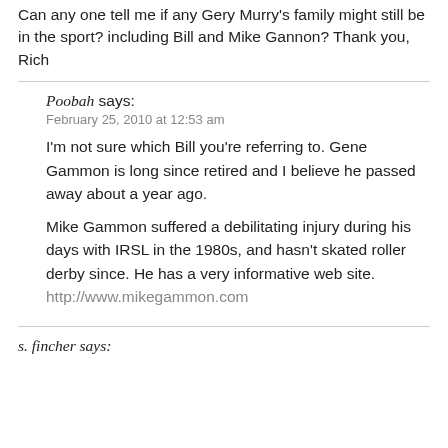Can any one tell me if any Gery Murry's family might still be in the sport? including Bill and Mike Gannon? Thank you, Rich
Poobah says:
February 25, 2010 at 12:53 am

I'm not sure which Bill you're referring to. Gene Gammon is long since retired and I believe he passed away about a year ago.

Mike Gammon suffered a debilitating injury during his days with IRSL in the 1980s, and hasn't skated roller derby since. He has a very informative web site.
http://www.mikegammon.com
s. fincher says: